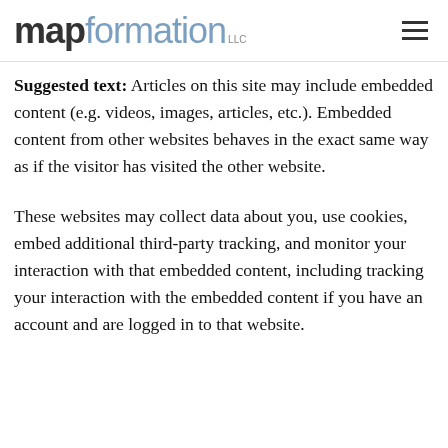mapformation LLC [hamburger menu icon]
Suggested text: Articles on this site may include embedded content (e.g. videos, images, articles, etc.). Embedded content from other websites behaves in the exact same way as if the visitor has visited the other website.
These websites may collect data about you, use cookies, embed additional third-party tracking, and monitor your interaction with that embedded content, including tracking your interaction with the embedded content if you have an account and are logged in to that website.